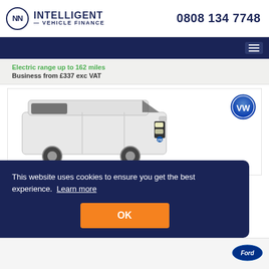INTELLIGENT VEHICLE FINANCE  0808 134 7748
Electric range up to 162 miles
Business from £337 exc VAT
[Figure (photo): White Volkswagen Transporter panel van, front three-quarter view, with VW roundel logo in top right corner]
This website uses cookies to ensure you get the best experience.  Learn more
OK
[Figure (logo): Ford oval blue logo]